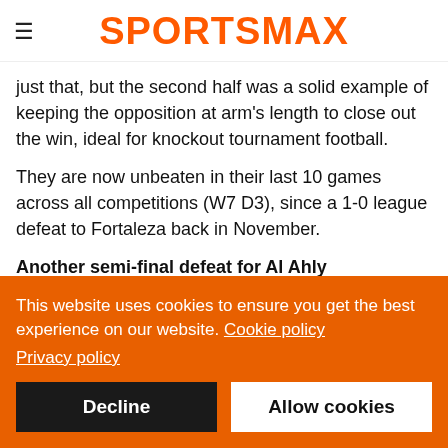SPORTSMAX
just that, but the second half was a solid example of keeping the opposition at arm's length to close out the win, ideal for knockout tournament football.
They are now unbeaten in their last 10 games across all competitions (W7 D3), since a 1-0 league defeat to Fortaleza back in November.
Another semi-final defeat for Al Ahly
Al Ahly are making their seventh appearance at the Club World
This website uses cookies to ensure you get the best experience on our website. Cookie policy Privacy policy
Decline
Allow cookies